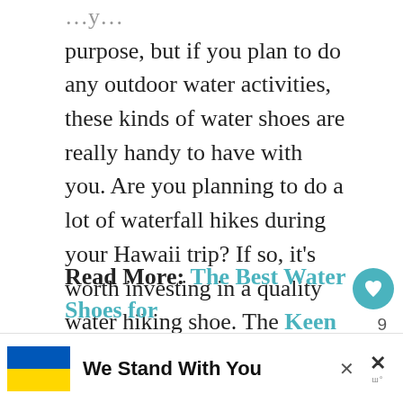purpose, but if you plan to do any outdoor water activities, these kinds of water shoes are really handy to have with you. Are you planning to do a lot of waterfall hikes during your Hawaii trip? If so, it's worth investing in a quality water hiking shoe. The Keen Whisper for women or Newport H2 for men are probably my favorites, but also check out Chacos and Teva because it really is personal preference just how well these shoes fit a foot.
Read More: The Best Water Shoes for
[Figure (other): Advertisement banner showing Ukraine flag colors (blue and yellow) with text 'We Stand With You'. Includes close buttons and a logo mark.]